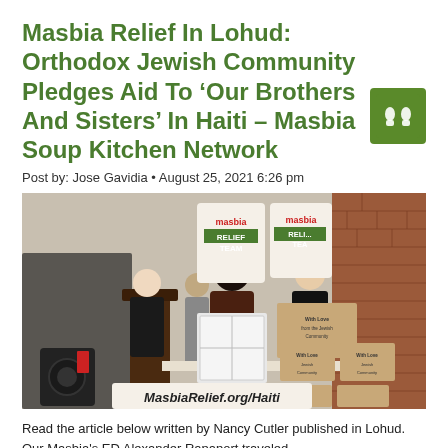Masbia Relief In Lohud: Orthodox Jewish Community Pledges Aid To ‘Our Brothers And Sisters’ In Haiti – Masbia Soup Kitchen Network
Post by: Jose Gavidia • August 25, 2021 6:26 pm
[Figure (photo): Group of people at an outdoor event, some in Orthodox Jewish attire, standing around a table with boxes labeled 'With Love from the Jewish Community' and a banner reading 'MasbiaRelief.org/Haiti'. Two Masbia Relief Team signs are visible in the background.]
Read the article below written by Nancy Cutler published in Lohud. Our Masbia's ED Alexander Rapaport traveled